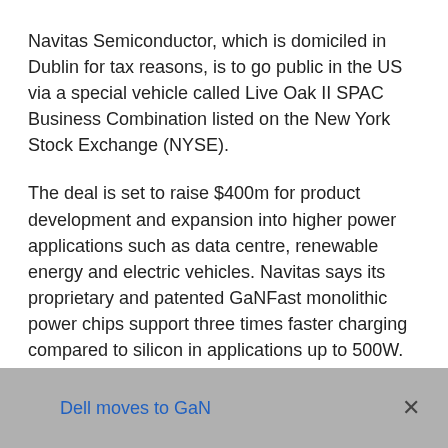Navitas Semiconductor, which is domiciled in Dublin for tax reasons, is to go public in the US via a special vehicle called Live Oak II SPAC Business Combination listed on the New York Stock Exchange (NYSE).
The deal is set to raise $400m for product development and expansion into higher power applications such as data centre, renewable energy and electric vehicles. Navitas says its proprietary and patented GaNFast monolithic power chips support three times faster charging compared to silicon in applications up to 500W. The company has shipped 18m devices to Tier-1 customers include Dell, Lenovo, Xiaomi, OPPO, LG, Amazon and Belkin.
Dell moves to GaN